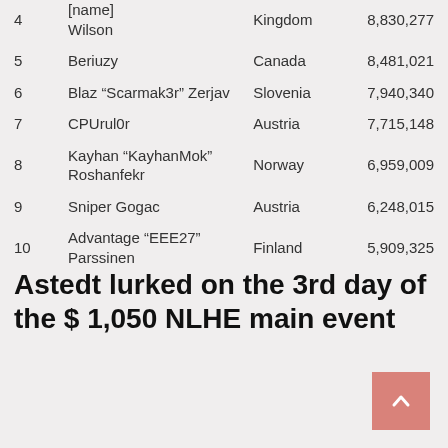| # | Name | Country | Score |
| --- | --- | --- | --- |
| 4 | [name truncated] Wilson | Kingdom | 8,830,277 |
| 5 | Beriuzy | Canada | 8,481,021 |
| 6 | Blaz “Scarmak3r” Zerjav | Slovenia | 7,940,340 |
| 7 | CPUrul0r | Austria | 7,715,148 |
| 8 | Kayhan “KayhanMok” Roshanfekr | Norway | 6,959,009 |
| 9 | Sniper Gogac | Austria | 6,248,015 |
| 10 | Advantage “EEE27” Parssinen | Finland | 5,909,325 |
Astedt lurked on the 3rd day of the $ 1,050 NLHE main event